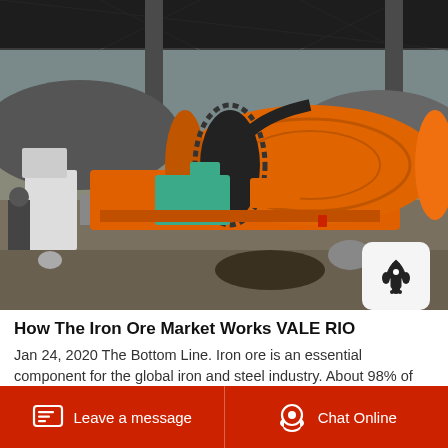[Figure (photo): Industrial mining equipment with a large orange ball mill and green motor under a corrugated metal roof shelter. Bags and debris visible in the foreground, workers partially visible on the left.]
How The Iron Ore Market Works VALE RIO
Jan 24, 2020 The Bottom Line. Iron ore is an essential component for the global iron and steel industry. About 98% of iron ore is used in...
Leave a message   Chat Online